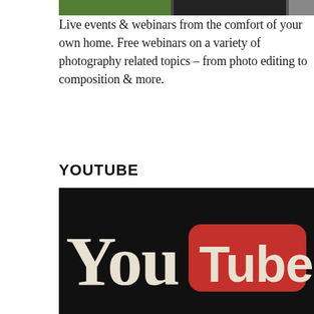[Figure (photo): Cropped photo showing people outdoors, partially visible at the top of the page]
Live events & webinars from the comfort of your own home. Free webinars on a variety of photography related topics – from photo editing to composition & more.
YOUTUBE
[Figure (photo): Photograph of a YouTube logo on a black background, showing the classic red play button with white text reading 'YouTube']